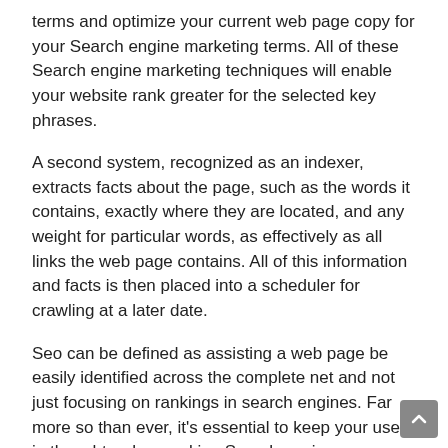terms and optimize your current web page copy for your Search engine marketing terms. All of these Search engine marketing techniques will enable your website rank greater for the selected key phrases.
A second system, recognized as an indexer, extracts facts about the page, such as the words it contains, exactly where they are located, and any weight for particular words, as effectively as all links the web page contains. All of this information and facts is then placed into a scheduler for crawling at a later date.
Seo can be defined as assisting a web page be easily identified across the complete net and not just focusing on rankings in search engines. Far more so than ever, it's essential to keep your user in thoughts when making Search engine optimization decision
The a lot more relevant the referring Web website is to your Internet website, the improved the link. There are undoubtedly dubious implies to producing hyperlinks, most of which can in